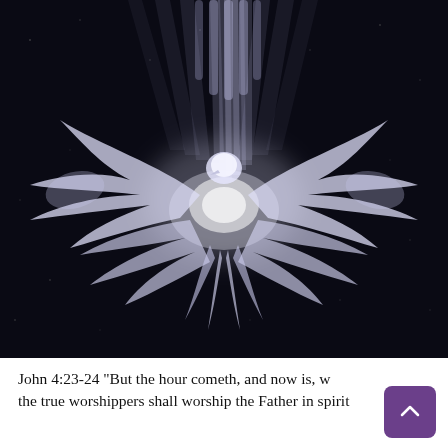[Figure (illustration): Dark background illustration of a glowing white dove with outstretched wings, with rays of light streaming down from above. The image is rendered in shades of white, grey, and dark purple/black, creating a spiritual or religious atmosphere.]
John 4:23-24 "But the hour cometh, and now is, w the true worshippers shall worship the Father in spirit